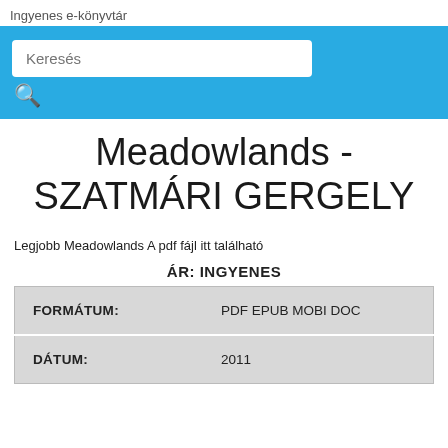Ingyenes e-könyvtár
[Figure (screenshot): Blue search bar with a white rounded search input field labeled 'Keresés' and a search icon below it]
Meadowlands - SZATMÁRI GERGELY
Legjobb Meadowlands A pdf fájl itt található
ÁR: INGYENES
| FORMÁTUM: | PDF EPUB MOBI DOC |
| DÁTUM: | 2011 |